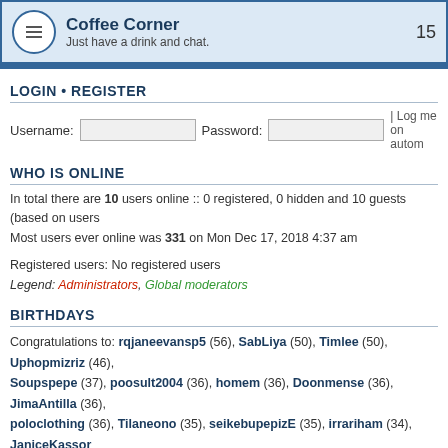Coffee Corner — Just have a drink and chat. 15
LOGIN • REGISTER
Username: [input] Password: [input] | Log me on autom
WHO IS ONLINE
In total there are 10 users online :: 0 registered, 0 hidden and 10 guests (based on users
Most users ever online was 331 on Mon Dec 17, 2018 4:37 am
Registered users: No registered users
Legend: Administrators, Global moderators
BIRTHDAYS
Congratulations to: rqjaneevansp5 (56), SabLiya (50), Timlee (50), Uphopmizriz (46), Soupspepe (37), poosult2004 (36), homem (36), Doonmense (36), JimaAntilla (36), poloclothing (36), Tilaneono (35), seikebupepizE (35), irrariham (34), JaniceKasson Poundagoato (34), truereligionjeans7 (34), prolearpLep (33), royaxerly (33), 10dam
STATISTICS
Total posts 6296 • Total topics 2089 • Total members 10805 • Our newest member backt
Board index    The team •
Powered by phpBB © 2000, 2002, 2005, 2007 phpBB